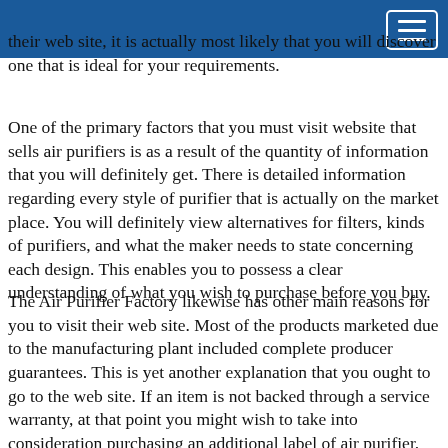their web site, it is actually most likely that you will discover one that is ideal for your requirements.
One of the primary factors that you must visit website that sells air purifiers is as a result of the quantity of information that you will definitely get. There is detailed information regarding every style of purifier that is actually on the market place. You will definitely view alternatives for filters, kinds of purifiers, and what the maker needs to state concerning each design. This enables you to possess a clear understanding of what you wish to purchase before you buy.
The Air Purifier Factory likewise has other main reasons for you to visit their web site. Most of the products marketed due to the manufacturing plant included complete producer guarantees. This is yet another explanation that you ought to go to the web site. If an item is not backed through a service warranty, at that point you might wish to take into consideration purchasing an additional label of air purifier. Possessing warranty security on your investments is important.